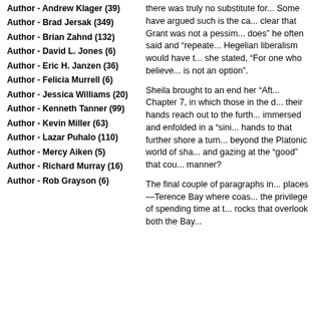Author - Andrew Klager (39)
Author - Brad Jersak (349)
Author - Brian Zahnd (132)
Author - David L. Jones (6)
Author - Eric H. Janzen (36)
Author - Felicia Murrell (6)
Author - Jessica Williams (20)
Author - Kenneth Tanner (99)
Author - Kevin Miller (63)
Author - Lazar Puhalo (110)
Author - Mercy Aiken (5)
Author - Richard Murray (16)
Author - Rob Grayson (6)
there was truly no substitute for... Some have argued such is the ca... clear that Grant was not a pessim... does” he often said and “repeate... Hegelian liberalism would have t... she stated, “For one who believe... is not an option”.
Sheila brought to an end her “Aft... Chapter 7, in which those in the d... their hands reach out to the furth... immersed and enfolded in a “sini... hands to that further shore a turn... beyond the Platonic world of sha... and gazing at the “good” that cou... manner?
The final couple of paragraphs in... places—Terence Bay where coas... the privilege of spending time at t... rocks that overlook both the Bay...